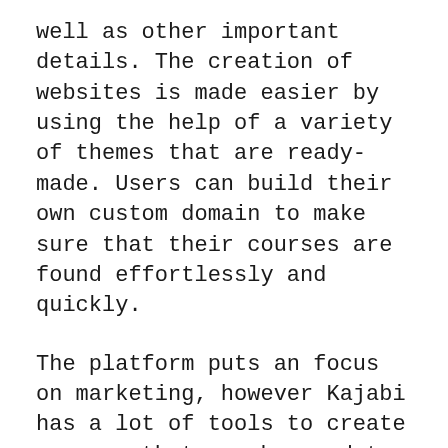well as other important details. The creation of websites is made easier by using the help of a variety of themes that are ready-made. Users can build their own custom domain to make sure that their courses are found effortlessly and quickly.
The platform puts an focus on marketing, however Kajabi has a lot of tools to create courses that can be used to make classes from scratch. It is possible to create videos, classes, and other forms of digital educational content using Kajabi's course creator tool that comes with the purchase of every Kajabi plan.
The course selling business could be even more efficient thanks to lead generation and